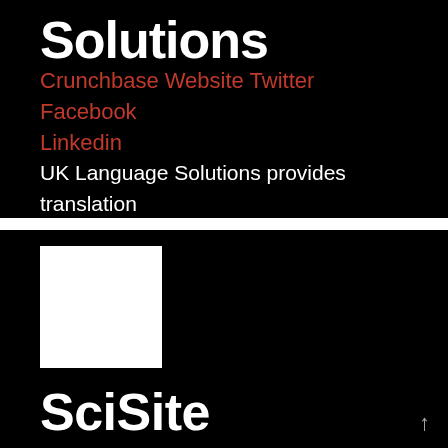Solutions
Crunchbase Website Twitter Facebook Linkedin
UK Language Solutions provides translation and localization services.
[Figure (logo): White square logo placeholder on black background]
SciSite